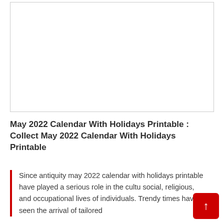[Figure (other): Empty white image placeholder box with thin gray border]
May 2022 Calendar With Holidays Printable : Collect May 2022 Calendar With Holidays Printable
Since antiquity may 2022 calendar with holidays printable have played a serious role in the cultu social, religious, and occupational lives of individuals. Trendy times have seen the arrival of tailored